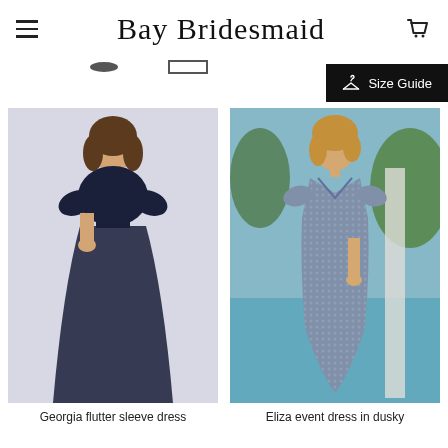Bay Bridesmaid
Size Guide
[Figure (photo): Woman wearing a navy blue flutter sleeve floor-length dress with lace top overlay and tulle skirt]
Georgia flutter sleeve dress
[Figure (photo): Woman wearing a dusty blue sequin mermaid event dress standing near a pool]
Eliza event dress in dusky